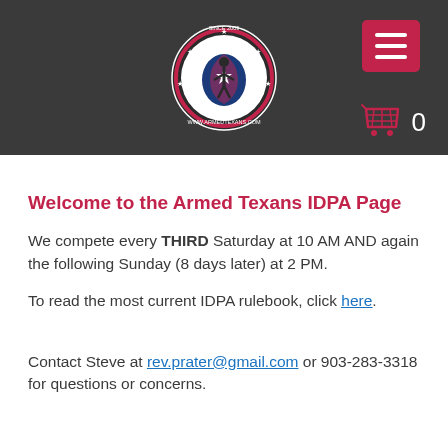[Figure (logo): Armed Texans circular logo with a figure holding a gun, stars around the border, text 'Armed Texans' and 'www.armedtexans.com', since 2009]
Welcome to the Armed Texans IDPA Page
We compete every THIRD Saturday at 10 AM AND again the following Sunday (8 days later) at 2 PM.
To read the most current IDPA rulebook, click here.
Contact Steve at rev.prater@gmail.com or 903-283-3318 for questions or concerns.